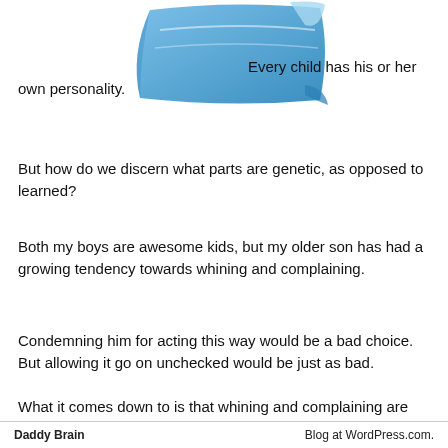[Figure (illustration): Blue folded paper or book illustration in the upper portion of the page]
Every child has his or her own personality.
But how do we discern what parts are genetic, as opposed to learned?
Both my boys are awesome kids, but my older son has had a growing tendency towards whining and complaining.
Condemning him for acting this way would be a bad choice. But allowing it go on unchecked would be just as bad.
What it comes down to is that whining and complaining are habits my son has developed to cope with certain
Daddy Brain    Blog at WordPress.com.